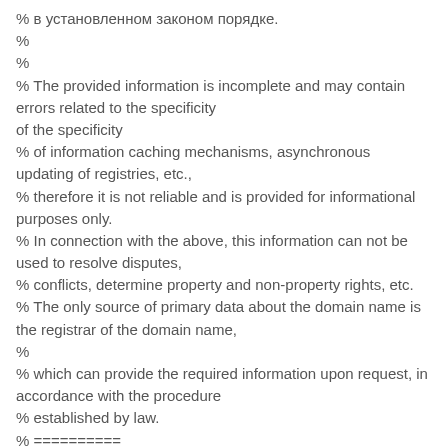% в установленном законом порядке.
%
%
% The provided information is incomplete and may contain errors related to the specificity
% of information caching mechanisms, asynchronous updating of registries, etc.,
% therefore it is not reliable and is provided for informational purposes only.
% In connection with the above, this information can not be used to resolve disputes,
% conflicts, determine property and non-property rights, etc.
% The only source of primary data about the domain name is the registrar of the domain name,
%
% which can provide the required information upon request, in accordance with the procedure
% established by law.
% ==========
registrar: ua.ukraine